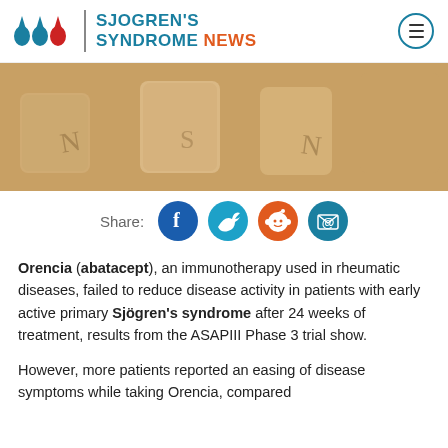SJOGREN'S SYNDROME NEWS
[Figure (photo): Blurred photo of wooden letter tiles/blocks on a light wooden surface]
Share:
Orencia (abatacept), an immunotherapy used in rheumatic diseases, failed to reduce disease activity in patients with early active primary Sjögren's syndrome after 24 weeks of treatment, results from the ASAPIII Phase 3 trial show.
However, more patients reported an easing of disease symptoms while taking Orencia, compared to a placebo.